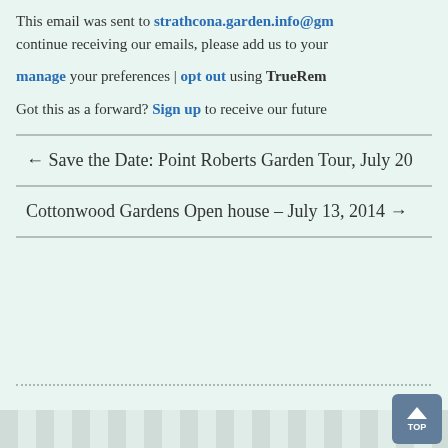This email was sent to strathcona.garden.info@gm continue receiving our emails, please add us to your
manage your preferences | opt out using TrueRem
Got this as a forward? Sign up to receive our future
← Save the Date: Point Roberts Garden Tour, July 20
Cottonwood Gardens Open house – July 13, 2014 →
TOP